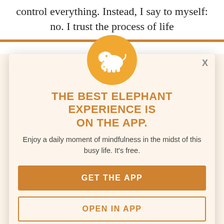control everything. Instead, I say to myself: no. I trust the process of life
2. I love myself just the way I am,

Even with all my flaws and the parts of me I think are not good enough, Louise front of a mirror. People find this realise how much they have been

been richer over the years,
Or how distanced they have become from their true selves.
[Figure (logo): White elephant silhouette on a golden/orange circle]
THE BEST ELEPHANT EXPERIENCE IS ON THE APP.
Enjoy a daily moment of mindfulness in the midst of this busy life. It's free.
GET THE APP
OPEN IN APP